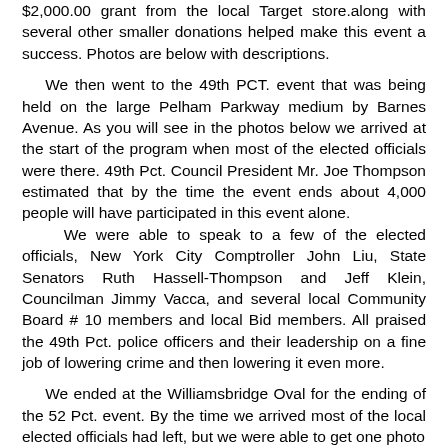$2,000.00 grant from the local Target store.along with several other smaller donations helped make this event a success. Photos are below with descriptions.
We then went to the 49th PCT. event that was being held on the large Pelham Parkway medium by Barnes Avenue. As you will see in the photos below we arrived at the start of the program when most of the elected officials were there. 49th Pct. Council President Mr. Joe Thompson estimated that by the time the event ends about 4,000 people will have participated in this event alone.
We were able to speak to a few of the elected officials, New York City Comptroller John Liu, State Senators Ruth Hassell-Thompson and Jeff Klein, Councilman Jimmy Vacca, and several local Community Board # 10 members and local Bid members. All praised the 49th Pct. police officers and their leadership on a fine job of lowering crime and then lowering it even more.
We ended at the Williamsbridge Oval for the ending of the 52 Pct. event. By the time we arrived most of the local elected officials had left, but we were able to get one photo